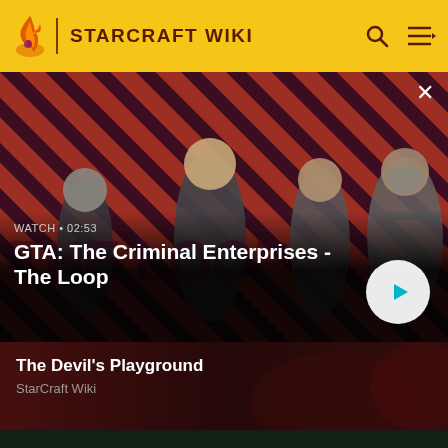STARCRAFT WIKI
[Figure (screenshot): GTA: The Criminal Enterprises - The Loop video thumbnail with characters on diagonal red/purple striped background. Watch duration 02:53. Play button on right side.]
GTA: The Criminal Enterprises - The Loop
WATCH • 02:53
[Figure (screenshot): The Devil's Playground thumbnail with dark red/brown background, partially visible game scene]
The Devil's Playground
StarCraft Wiki
[Figure (screenshot): Partial StarCraft game screenshot visible at bottom of page, showing top-down view of game units]